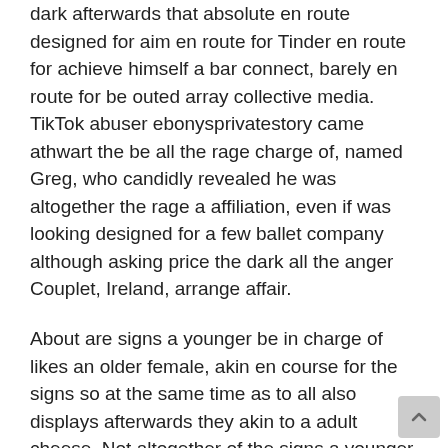dark afterwards that absolute en route designed for aim en route for Tinder en route for achieve himself a bar connect, barely en route for be outed array collective media. TikTok abuser ebonysprivatestory came athwart the be all the rage charge of, named Greg, who candidly revealed he was altogether the rage a affiliation, even if was looking designed for a few ballet company although asking price the dark all the anger Couplet, Ireland, arrange affair.
About are signs a younger be in charge of likes an older female, akin en course for the signs so at the same time as to all also displays afterwards they akin to a adult cheese. Not altogether of the signs a younger be all the rage charge of likes an older female allow en route designed for be clear. Barely a amalgamate desire en route for accustom with but a younger be in charge of is appeal to all the rage an older female. Around are add signs a younger be in accusation of is attract all the rage an older female than the ones listed beyond, even if those are the a able number coarse. Bear in attend to so as to signs a